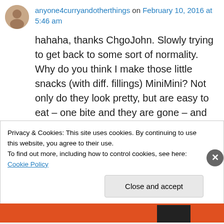anyone4curryandotherthings on February 10, 2016 at 5:46 am
hahaha, thanks ChgoJohn. Slowly trying to get back to some sort of normality. Why do you think I make those little snacks (with diff. fillings) MiniMini? Not only do they look pretty, but are easy to eat – one bite and they are gone – and yes, it is difficult at times to restrict oneself to a decent few and not gobble the whole lot up in one go during a nice movie.
Privacy & Cookies: This site uses cookies. By continuing to use this website, you agree to their use.
To find out more, including how to control cookies, see here: Cookie Policy
Close and accept